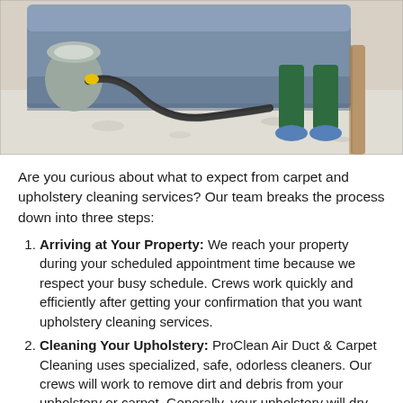[Figure (photo): A carpet cleaning technician using a vacuum/steam cleaning machine near a blue sofa on a light carpet, with a wooden chair leg visible on the right.]
Are you curious about what to expect from carpet and upholstery cleaning services? Our team breaks the process down into three steps:
Arriving at Your Property: We reach your property during your scheduled appointment time because we respect your busy schedule. Crews work quickly and efficiently after getting your confirmation that you want upholstery cleaning services.
Cleaning Your Upholstery: ProClean Air Duct & Carpet Cleaning uses specialized, safe, odorless cleaners. Our crews will work to remove dirt and debris from your upholstery or carpet. Generally, your upholstery will dry within a few hours, allowing you to move forward.
Getting Your Approval: Before the crews leave, they'll get verification of your approval. We back up our work with a customer satisfaction guarantee. Allow us to...